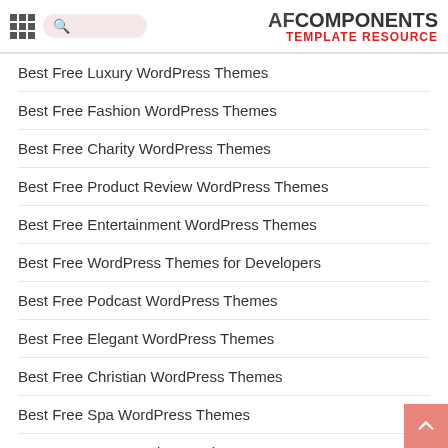AF COMPONENTS TEMPLATE RESOURCE
Best Free Luxury WordPress Themes
Best Free Fashion WordPress Themes
Best Free Charity WordPress Themes
Best Free Product Review WordPress Themes
Best Free Entertainment WordPress Themes
Best Free WordPress Themes for Developers
Best Free Podcast WordPress Themes
Best Free Elegant WordPress Themes
Best Free Christian WordPress Themes
Best Free Spa WordPress Themes
Best Free Yoga WordPress Themes
Best Free Modern WordPress Themes